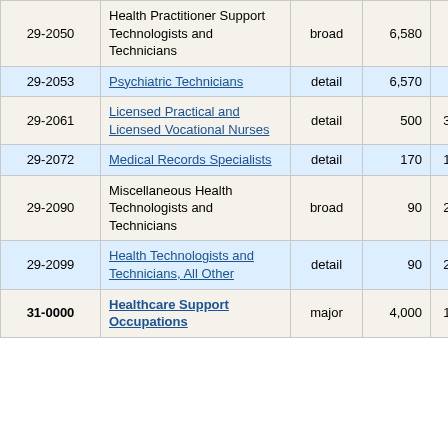| Code | Occupation | Level | Employment | Percent Change |
| --- | --- | --- | --- | --- |
| 29-2050 | Health Practitioner Support Technologists and Technicians | broad | 6,580 | 8.0% |
| 29-2053 | Psychiatric Technicians | detail | 6,570 | 8.0% |
| 29-2061 | Licensed Practical and Licensed Vocational Nurses | detail | 500 | 34.3% |
| 29-2072 | Medical Records Specialists | detail | 170 | 12.4% |
| 29-2090 | Miscellaneous Health Technologists and Technicians | broad | 90 | 29.6% |
| 29-2099 | Health Technologists and Technicians, All Other | detail | 90 | 29.6% |
| 31-0000 | Healthcare Support Occupations | major | 4,000 | 11.0% |